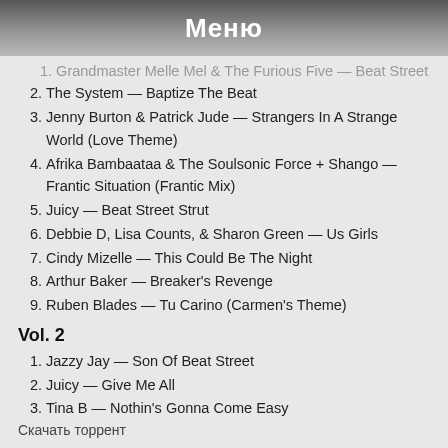Меню
1. Grandmaster Melle Mel & The Furious Five — Beat Street
2. The System — Baptize The Beat
3. Jenny Burton & Patrick Jude — Strangers In A Strange World (Love Theme)
4. Afrika Bambaataa & The Soulsonic Force + Shango — Frantic Situation (Frantic Mix)
5. Juicy — Beat Street Strut
6. Debbie D, Lisa Counts, & Sharon Green — Us Girls
7. Cindy Mizelle — This Could Be The Night
8. Arthur Baker — Breaker's Revenge
9. Ruben Blades — Tu Carino (Carmen's Theme)
Vol. 2
1. Jazzy Jay — Son Of Beat Street
2. Juicy — Give Me All
3. Tina B — Nothin's Gonna Come Easy
4. Treacherous Three feat. Doug E. Fresh — Santa's Rap
5. Jenny Burton — It's Alright by Me
6. Rockers Revenge feat. Arthur Baker — Battle Cry
7. Ralph Rolle — Phony Four MC's-Wappin' (Bubblehead)
8. La La — Into The Night
Скачать торрент